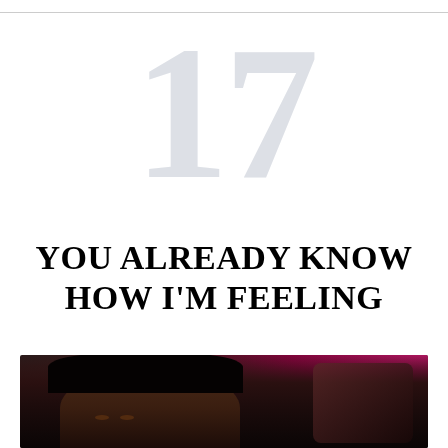17
YOU ALREADY KNOW HOW I'M FEELING
[Figure (photo): A woman with black bangs looking sideways with a skeptical or unimpressed expression, with a pink/magenta background and another person visible to the right.]